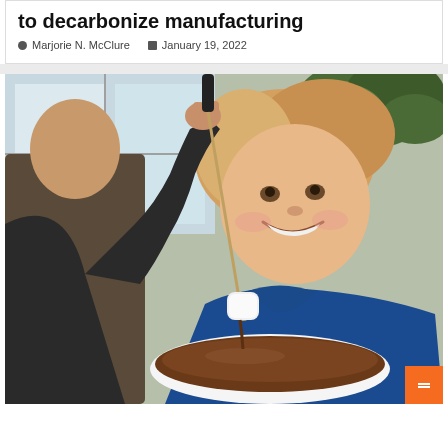to decarbonize manufacturing
Marjorie N. McClure   January 19, 2022
[Figure (photo): A smiling young girl with reddish-blonde hair wearing a blue polo shirt, holding up a milk frother/mixing stick with her right hand raised, dipping it into a bowl of chocolate fondue with a marshmallow on the end. Background shows a window with plants.]